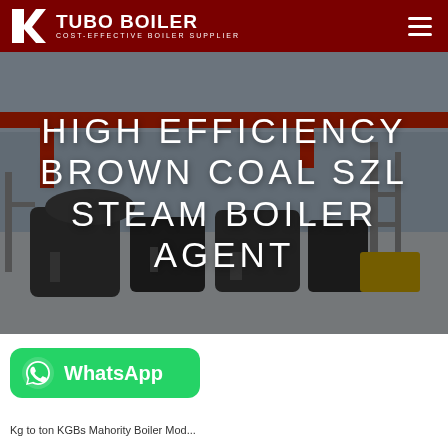TUBO BOILER — COST-EFFECTIVE BOILER SUPPLIER
[Figure (photo): Industrial boiler manufacturing facility interior with large equipment and overhead cranes, overlaid with large white text reading HIGH EFFICIENCY BROWN COAL SZL STEAM BOILER AGENT]
HIGH EFFICIENCY BROWN COAL SZL STEAM BOILER AGENT
[Figure (logo): WhatsApp button in green with WhatsApp logo icon and text 'WhatsApp']
Kg to ton KGBs Mahority Boiler Mod...